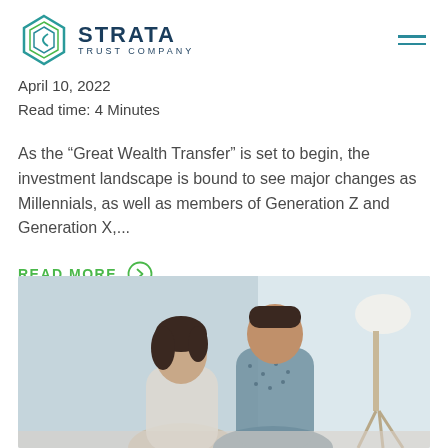[Figure (logo): Strata Trust Company logo with geometric diamond/hexagon icon in teal and green, company name in navy blue]
April 10, 2022
Read time: 4 Minutes
As the “Great Wealth Transfer” is set to begin, the investment landscape is bound to see major changes as Millennials, as well as members of Generation Z and Generation X,...
READ MORE
[Figure (photo): A young woman with dark hair and a young man in a patterned shirt looking down together, possibly reviewing documents, with a lamp visible in the background]